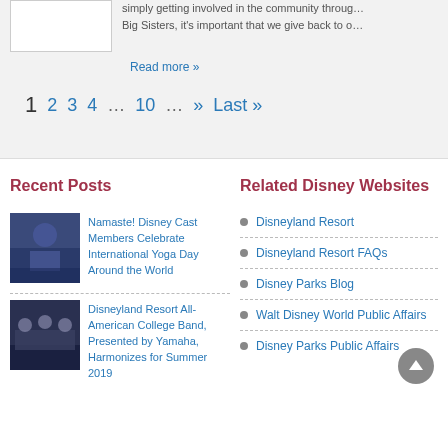simply getting involved in the community through… Big Sisters, it's important that we give back to o…
Read more »
1  2  3  4  ...  10  ...  »  Last »
Recent Posts
[Figure (photo): Disney castle at night with colorful lights and cast members]
Namaste! Disney Cast Members Celebrate International Yoga Day Around the World
[Figure (photo): Group photo of All-American College Band members]
Disneyland Resort All-American College Band, Presented by Yamaha, Harmonizes for Summer 2019
Related Disney Websites
Disneyland Resort
Disneyland Resort FAQs
Disney Parks Blog
Walt Disney World Public Affairs
Disney Parks Public Affairs